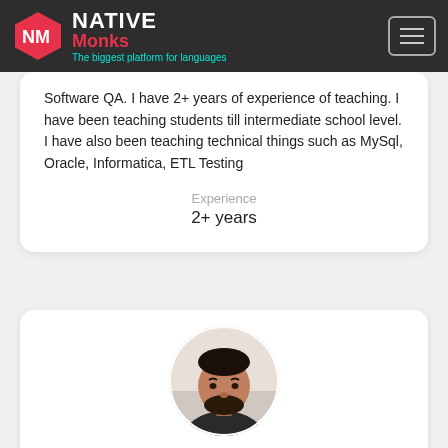[Figure (logo): Native Monks logo with hexagon icon, white NATIVE text, red Monks text, and teal tagline 'The biggest platform for languages']
Software QA. I have 2+ years of experience of teaching. I have been teaching students till intermediate school level. I have also been teaching technical things such as MySql, Oracle, Informatica, ETL Testing
Experience
2+ years
[Figure (photo): Circular profile photo of a young man with beard wearing dark t-shirt]
Book a course now to get one of our professional